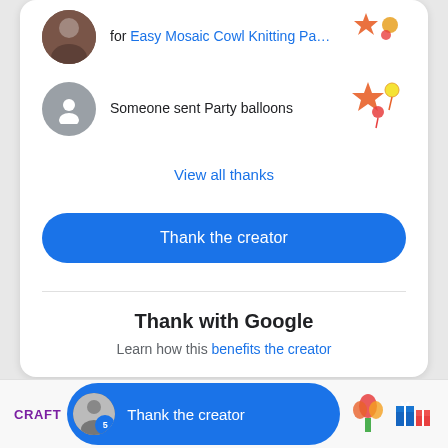for Easy Mosaic Cowl Knitting Pa…
Someone sent Party balloons
View all thanks
Thank the creator
Thank with Google
Learn how this benefits the creator
CRAFT
Thank the creator